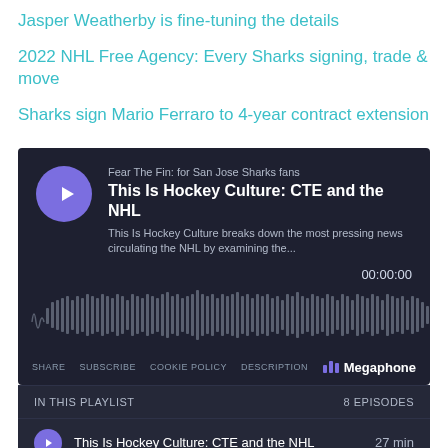Jasper Weatherby is fine-tuning the details
2022 NHL Free Agency: Every Sharks signing, trade & move
Sharks sign Mario Ferraro to 4-year contract extension
[Figure (screenshot): Megaphone podcast player widget showing 'Fear The Fin: for San Jose Sharks fans' podcast, episode 'This Is Hockey Culture: CTE and the NHL', with waveform display, playback controls, share/subscribe/cookie policy/description links, and Megaphone branding. Playlist below shows 8 episodes including 'This Is Hockey Culture: CTE and the NHL 27 min' and 'This Is Hockey Culture: What makes a g...28 min'.]